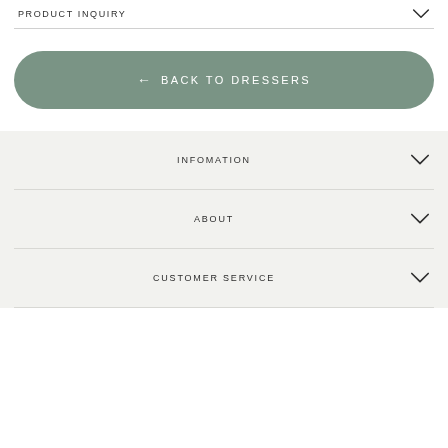PRODUCT INQUIRY
BACK TO DRESSERS
INFOMATION
ABOUT
CUSTOMER SERVICE